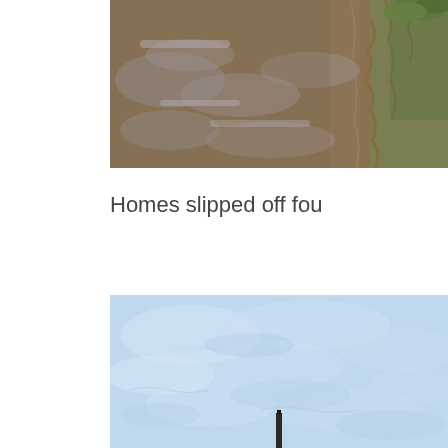[Figure (photo): Flooded muddy water scene with brown murky water and green vegetation/roots visible on the right bank edge. Top portion of a flood disaster photo.]
Homes slipped off fou
[Figure (photo): Light blue water surface with rippled texture filling most of the frame, and a small dark vertical post or pole visible near the bottom center. Appears to be a flooded area with calm water.]